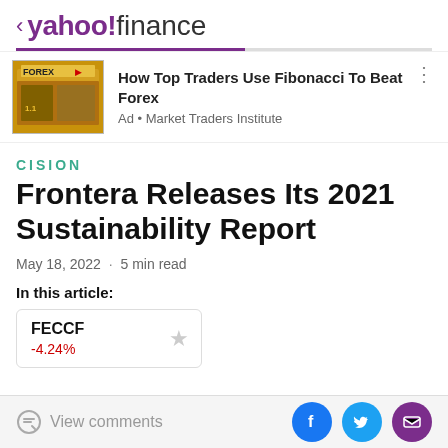< yahoo!finance
[Figure (photo): Advertisement banner with Forex store image. Ad title: How Top Traders Use Fibonacci To Beat Forex. Source: Ad • Market Traders Institute]
CISION
Frontera Releases Its 2021 Sustainability Report
May 18, 2022 · 5 min read
In this article:
FECCF
-4.24%
View comments